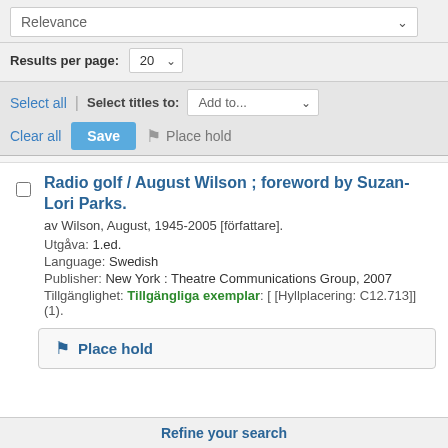Relevance
Results per page: 20
Select all | Select titles to: Add to...
Clear all  Save  Place hold
Radio golf / August Wilson ; foreword by Suzan-Lori Parks.
av Wilson, August, 1945-2005 [författare].
Utgåva: 1.ed.
Language: Swedish
Publisher: New York : Theatre Communications Group, 2007
Tillgänglighet: Tillgängliga exemplar: [ [Hyllplacering: C12.713]] (1).
Place hold
Refine your search